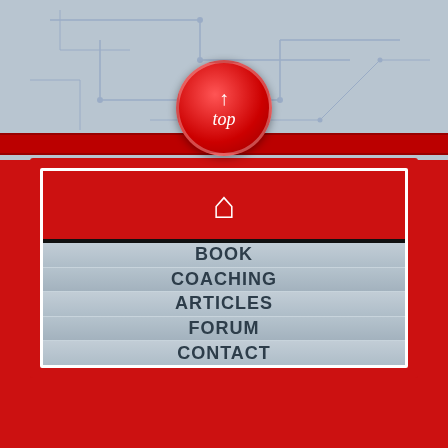[Figure (screenshot): Navigation menu UI with top back-to-top button, home icon header, and 5 menu items: BOOK, COACHING, ARTICLES, FORUM, CONTACT on a light blue-gray background with red accents]
BOOK
COACHING
ARTICLES
FORUM
CONTACT